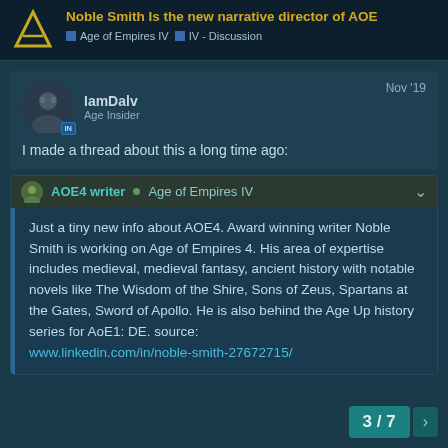Noble Smith Is the new narrative director of AOE | Age of Empires IV | IV - Discussion
IamDalv
Age Insider
Nov '19
I made a thread about this a long time ago:
AOE4 writer • Age of Empires IV
Just a tiny new info about AOE4. Award winning writer Noble Smith is working on Age of Empires 4. His area of expertise includes medieval, medieval fantasy, ancient history with notable novels like The Wisdom of the Shire, Sons of Zeus, Spartans at the Gates, Sword of Apollo. He is also behind the Age Up history series for AoE1: DE. source: www.linkedin.com/in/noble-smith-27672715/
3 / 7